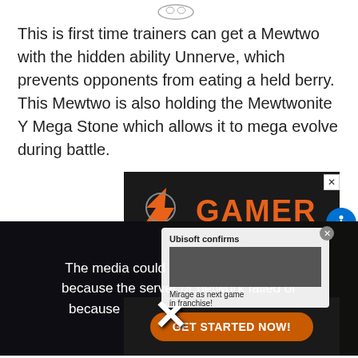[Figure (illustration): Small controller or Pokeball icon at the top center of the page]
This is first time trainers can get a Mewtwo with the hidden ability Unnerve, which prevents opponents from eating a held berry. This Mewtwo is also holding the Mewtwonite Y Mega Stone which allows it to mega evolve during battle.
[Figure (screenshot): Gamer Launch advertisement banner with orange logo on dark background and GET STARTED NOW button]
[Figure (screenshot): Video player showing error message: The media could not be loaded, either because the server or network failed or because the format is not supported.]
[Figure (screenshot): Ubisoft popup card: Ubisoft confirms Mirage as next game in franchise!]